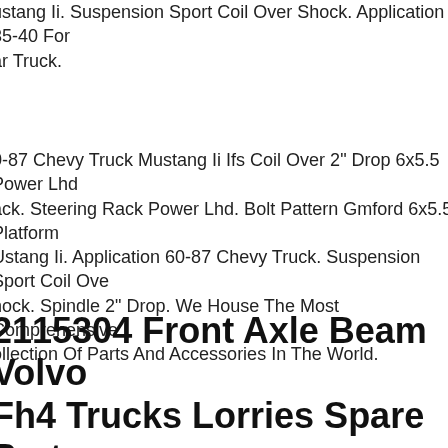ustang Ii. Suspension Sport Coil Over Shock. Application 35-40 Foro ar Truck.
0-87 Chevy Truck Mustang Ii Ifs Coil Over 2" Drop 6x5.5 Power Lhd ack. Steering Rack Power Lhd. Bolt Pattern Gmford 6x5.5. Platform Ustang Ii. Application 60-87 Chevy Truck. Suspension Sport Coil Ove hock. Spindle 2" Drop. We House The Most Comprehensive ollection Of Parts And Accessories In The World.
2115304 Front Axle Beam Volvo Fh4 Trucks Lorries Spare Parts
efore Buying, Please Make Sure To Always Carefully View The Photo nd Check Relevant Part Numberoemnumber In The Item Specifics. I he Part Number Is A Complete Match Then Usually This Is The orrect Part.feel Free To Message Us On Ebay If You Have Any uestions About The Part Or Are Unsure About The Compatibility. If